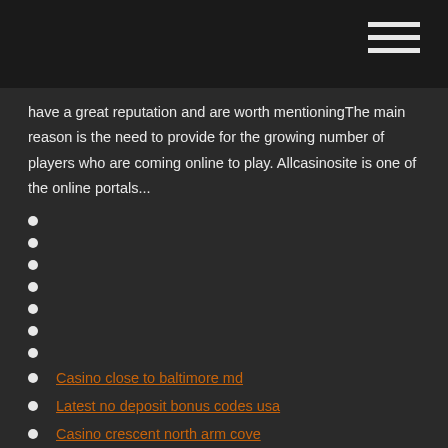have a great reputation and are worth mentioningThe main reason is the need to provide for the growing number of players who are coming online to play. Allcasinosite is one of the online portals...
Casino close to baltimore md
Latest no deposit bonus codes usa
Casino crescent north arm cove